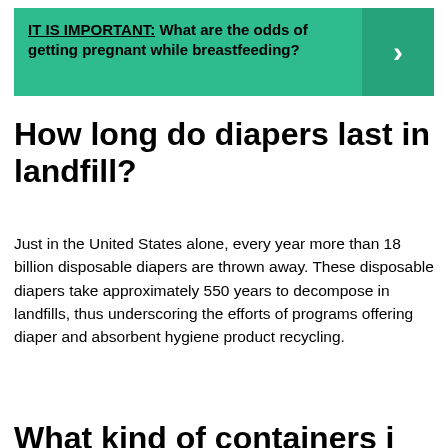[Figure (infographic): Teal/green banner with bold text 'IT IS IMPORTANT: What are the odds of getting pregnant while breastfeeding?' and a right-arrow chevron on the right side.]
How long do diapers last in landfill?
Just in the United States alone, every year more than 18 billion disposable diapers are thrown away. These disposable diapers take approximately 550 years to decompose in landfills, thus underscoring the efforts of programs offering diaper and absorbent hygiene product recycling.
What kind of containers i...